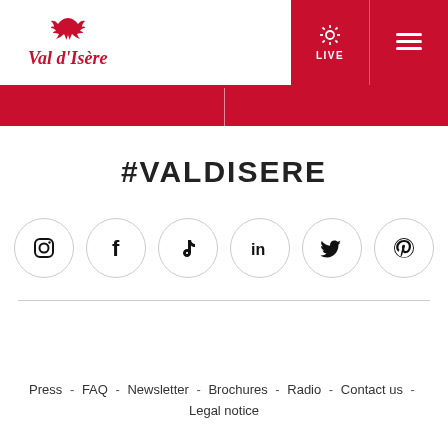[Figure (logo): Val d'Isère logo with red eagle/bird icon above italic red text 'Val d'Isère']
[Figure (infographic): Navigation header buttons: red LIVE button with sun icon and red hamburger menu button]
[Figure (infographic): Red horizontal bar beneath header with vertical divider]
#VALDISERE
[Figure (infographic): Six social media icons in circles: Instagram, Facebook, TikTok, LinkedIn, Twitter, Pinterest]
Press - FAQ - Newsletter - Brochures - Radio - Contact us - Legal notice